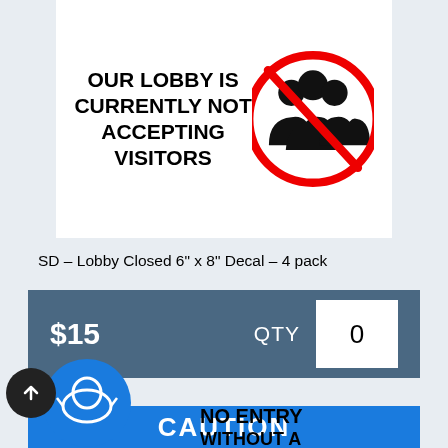[Figure (illustration): A sign with bold black text reading OUR LOBBY IS CURRENTLY NOT ACCEPTING VISITORS with a red circle-slash over a group of people icon]
SD – Lobby Closed 6" x 8" Decal – 4 pack
$15  QTY  0
[Figure (illustration): A sign with a blue banner reading CAUTION and below it a blue circle with a face mask icon, next to bold text NO ENTRY WITHOUT A...]